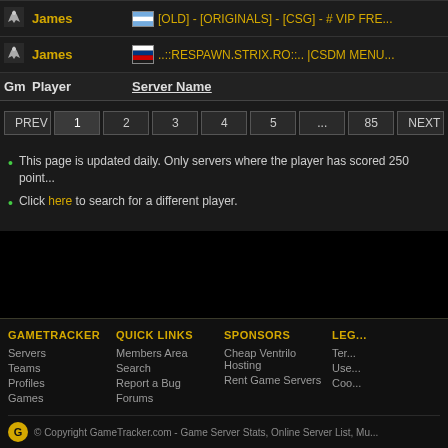| Gm | Player | Server Name |
| --- | --- | --- |
| [icon] | James | [AR flag] [OLD] - [ORIGINALS] - [CSG] - # VIP FRE... |
| [icon] | James | [RU flag] ..::RESPAWN.STRIX.RO::.. |CSDM MENU... |
PREV 1 2 3 4 5 ... 85 NEXT
This page is updated daily. Only servers where the player has scored 250 point...
Click here to search for a different player.
GAMETRACKER | QUICK LINKS | SPONSORS | LEGAL | Servers | Members Area | Cheap Ventrilo Hosting | Terms... | Teams | Search | Rent Game Servers | User... | Profiles | Report a Bug | Coo... | Games | Forums | © Copyright GameTracker.com - Game Server Stats, Online Server List, Mu...